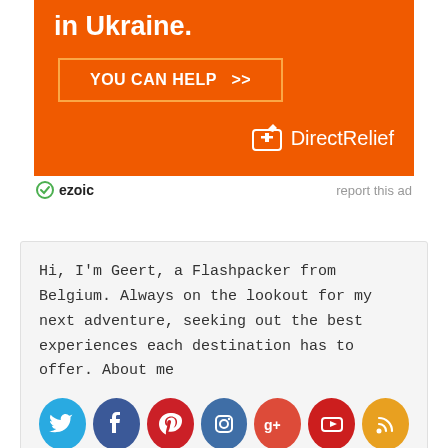[Figure (infographic): Direct Relief charity ad banner on orange background. Heading text 'in Ukraine.' with a button 'YOU CAN HELP >>' and Direct Relief logo.]
ezoic   report this ad
Hi, I'm Geert, a Flashpacker from Belgium. Always on the lookout for my next adventure, seeking out the best experiences each destination has to offer. About me
[Figure (infographic): Row of social media icons: Twitter, Facebook, Pinterest, Instagram, Google+, YouTube, RSS]